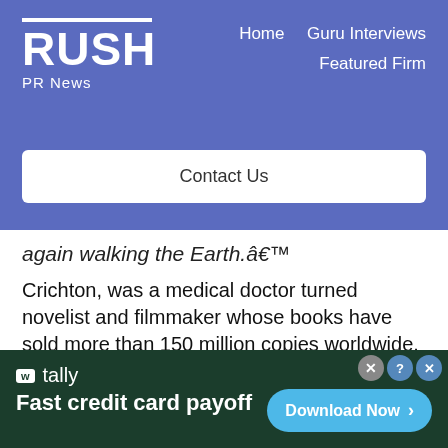RUSH PR News — Home | Guru Interviews | Featured Firm | Contact Us
again walking the Earth.â€™
Crichton, was a medical doctor turned novelist and filmmaker whose books have sold more than 150 million copies worldwide.
Spielberg added: â€œMichael was a gentle soul who reserved his
[Figure (screenshot): Tally app advertisement banner: 'Fast credit card payoff' with Download Now button]